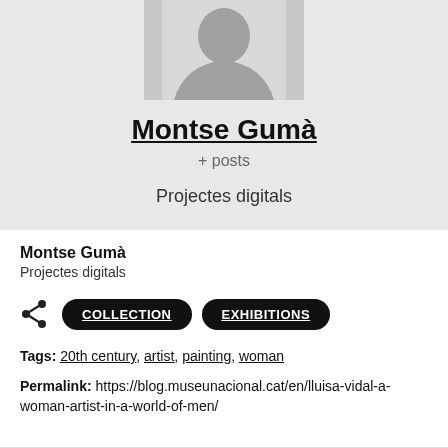[Figure (illustration): Profile card with gray background showing a person silhouette avatar, name 'Montse Gumà' underlined, '+ posts' link, and 'Projectes digitals' text]
Montse Gumà
Projectes digitals
[Figure (infographic): Share icon and two pill-shaped buttons labeled COLLECTION and EXHIBITIONS]
Tags: 20th century, artist, painting, woman
Permalink: https://blog.museunacional.cat/en/lluisa-vidal-a-woman-artist-in-a-world-of-men/